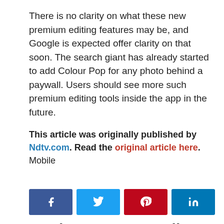There is no clarity on what these new premium editing features may be, and Google is expected offer clarity on that soon. The search giant has already started to add Colour Pop for any photo behind a paywall. Users should see more such premium editing tools inside the app in the future.
This article was originally published by Ndtv.com. Read the original article here.
Mobile
[Figure (infographic): Social sharing buttons: Facebook (blue), Twitter (light blue), Pinterest (red), LinkedIn (dark blue)]
Products You May Like
[Figure (photo): Amazon Original Thirteen Lives movie poster thumbnail]